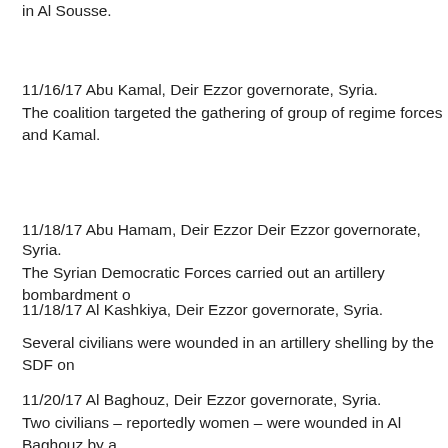in Al Sousse.
11/16/17 Abu Kamal, Deir Ezzor governorate, Syria.
The coalition targeted the gathering of group of regime forces and Kamal.
11/18/17 Abu Hamam, Deir Ezzor Deir Ezzor governorate, Syria.
The Syrian Democratic Forces carried out an artillery bombardment o
11/18/17 Al Kashkiya, Deir Ezzor governorate, Syria.

Several civilians were wounded in an artillery shelling by the SDF on
11/20/17 Al Baghouz, Deir Ezzor governorate, Syria.
Two civilians – reportedly women – were wounded in Al Baghouz by a